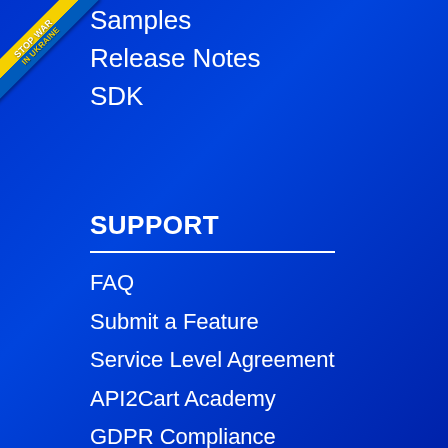[Figure (illustration): Stop War in Ukraine ribbon/badge in upper-left corner, diagonal yellow and blue banner]
Samples
Release Notes
SDK
SUPPORT
FAQ
Submit a Feature
Service Level Agreement
API2Cart Academy
GDPR Compliance
Terms of Service
Privacy Policy
Security
Copyright and Trademark Policy